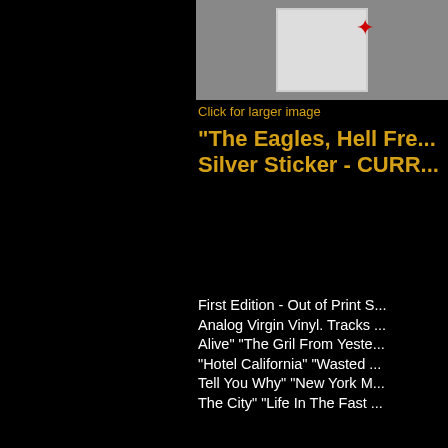[Figure (photo): Small product thumbnail photo of an Eagles vinyl record album cover, visible in upper right portion of the page]
Click for larger image
"The Eagles, Hell Fre... Silver Sticker - CURR..."
First Edition - Out of Print S... Analog Virgin Vinyl. Tracks ... Alive" "The Gril From Yeste... "Hotel California" "Wasted ... Tell You Why" "New York M... The City" "Life In The Fast ...
SKU Number: FOLP SV050...
Price: $189.99
Quantity:
[Figure (photo): Bottom thumbnail photograph partially visible, appears to be another album cover image]